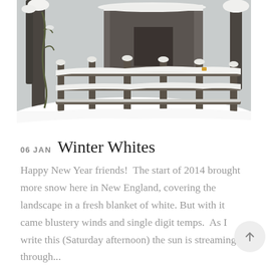[Figure (photo): Winter scene showing a snow-covered wooden fence in the foreground with snow-laden trees and a weathered barn in the background. Heavy white snow covers the fence rails and ground.]
06 JAN Winter Whites
Happy New Year friends!  The start of 2014 brought more snow here in New England, covering the landscape in a fresh blanket of white. But with it came blustery winds and single digit temps.  As I write this (Saturday afternoon) the sun is streaming through...